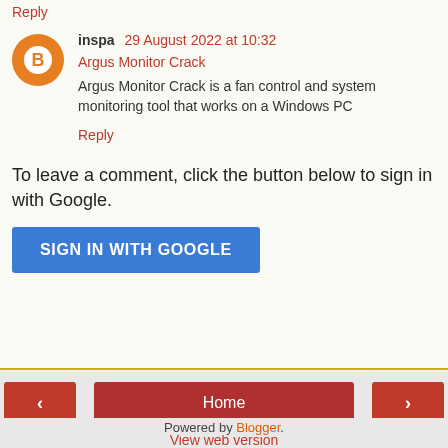Reply
inspa 29 August 2022 at 10:32
Argus Monitor Crack
Argus Monitor Crack is a fan control and system monitoring tool that works on a Windows PC
Reply
To leave a comment, click the button below to sign in with Google.
SIGN IN WITH GOOGLE
Home
View web version
Powered by Blogger.